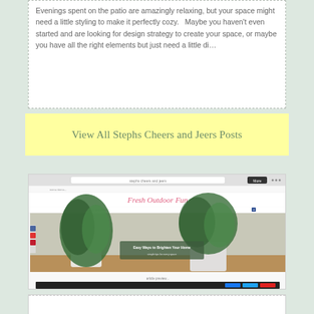Evenings spent on the patio are amazingly relaxing, but your space might need a little styling to make it perfectly cozy.   Maybe you haven't even started and are looking for design strategy to create your space, or maybe you have all the right elements but just need a little di…
View All Stephs Cheers and Jeers Posts
[Figure (screenshot): Screenshot of a website called 'Fresh Outdoor Fun' or similar, showing a blog page with a hero image of green plants in white pots on a wooden surface, with navigation and header elements visible.]
[Figure (screenshot): Partial screenshot of another website or article, partially visible at the bottom of the page.]